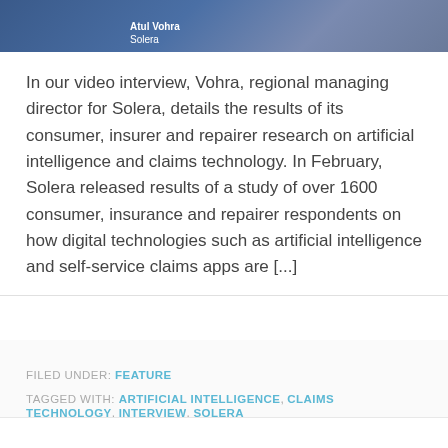[Figure (photo): Video interview screenshot showing Atul Vohra from Solera, with name label overlay on blue background]
In our video interview, Vohra, regional managing director for Solera, details the results of its consumer, insurer and repairer research on artificial intelligence and claims technology. In February, Solera released results of a study of over 1600 consumer, insurance and repairer respondents on how digital technologies such as artificial intelligence and self-service claims apps are [...]
FILED UNDER: FEATURE
TAGGED WITH: ARTIFICIAL INTELLIGENCE, CLAIMS TECHNOLOGY, INTERVIEW, SOLERA